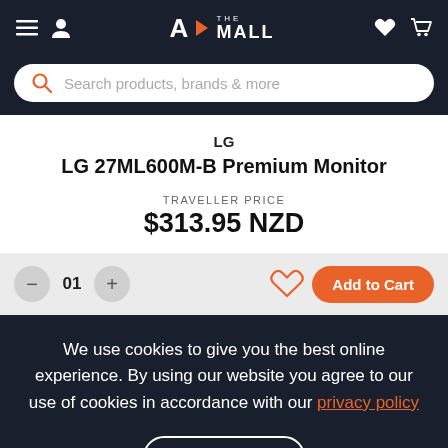THE MALL — navigation header with hamburger menu, user icon, logo, heart icon, cart icon
Search products, brands & more
LG
LG 27ML600M-B Premium Monitor
TRAVELLER PRICE
$313.95 NZD
— 01 + [heart icon] Add to Cart
We use cookies to give you the best online experience. By using our website you agree to our use of cookies in accordance with our privacy policy
Continue